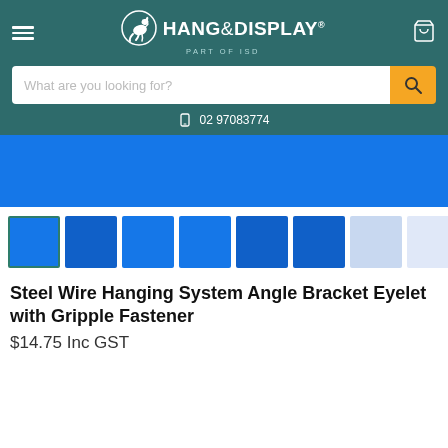[Figure (logo): Hang & Display logo with kangaroo icon, white text on teal background, 'PART OF ISD' subtitle]
What are you looking for?
02 97083774
[Figure (photo): Blue background product image area showing steel wire hanging system]
[Figure (photo): Row of 8 product thumbnail images on blue backgrounds showing steel wire hanging system angle bracket eyelet with gripple fastener]
Steel Wire Hanging System Angle Bracket Eyelet with Gripple Fastener
$14.75 Inc GST